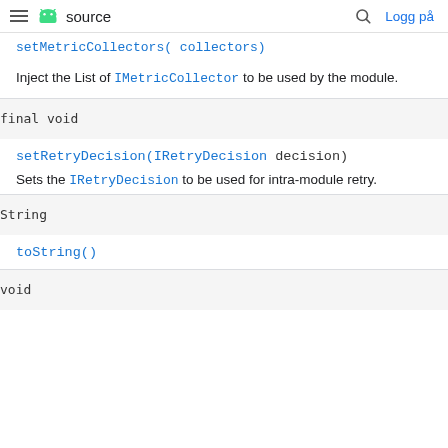≡ android source  🔍 Logg på
setMetricCollectors( collectors)
Inject the List of IMetricCollector to be used by the module.
final void
setRetryDecision(IRetryDecision decision)
Sets the IRetryDecision to be used for intra-module retry.
String
toString()
void